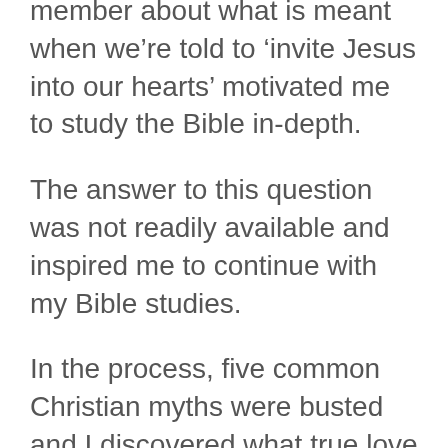member about what is meant when we're told to 'invite Jesus into our hearts' motivated me to study the Bible in-depth.
The answer to this question was not readily available and inspired me to continue with my Bible studies.
In the process, five common Christian myths were busted and I discovered what true love is all about.